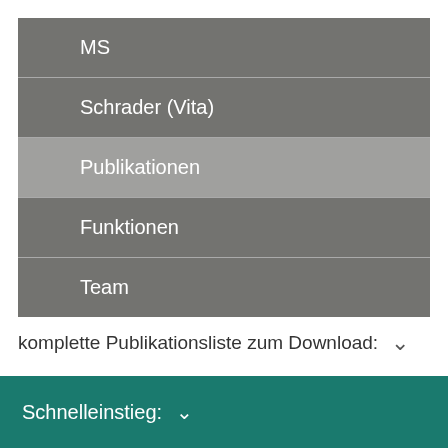MS
Schrader (Vita)
Publikationen
Funktionen
Team
komplette Publikationsliste zum Download: ∨
Schnelleinstieg: ∨